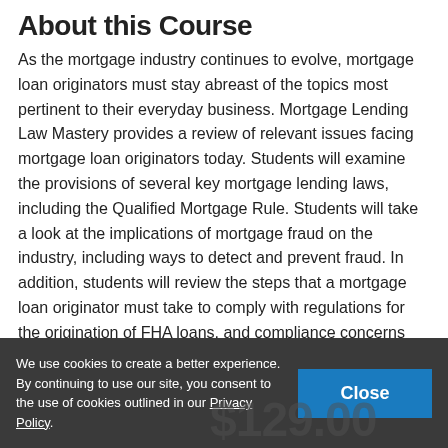About this Course
As the mortgage industry continues to evolve, mortgage loan originators must stay abreast of the topics most pertinent to their everyday business. Mortgage Lending Law Mastery provides a review of relevant issues facing mortgage loan originators today. Students will examine the provisions of several key mortgage lending laws, including the Qualified Mortgage Rule. Students will take a look at the implications of mortgage fraud on the industry, including ways to detect and prevent fraud. In addition, students will review the steps that a mortgage loan originator must take to comply with regulations for the origination of FHA loans, and compliance concerns related to money laundering in the mortgage market.
We use cookies to create a better experience. By continuing to use our site, you consent to the use of cookies outlined in our Privacy Policy.